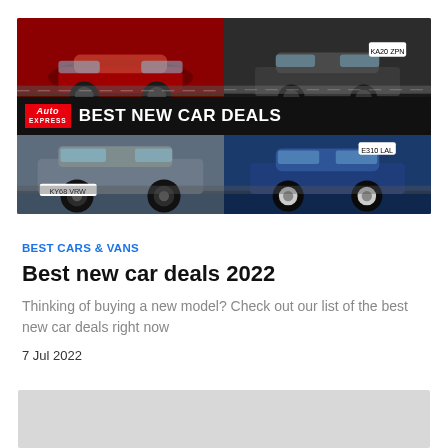[Figure (photo): Auto Express Best New Car Deals collage showing four cars: red sports car (top left), dark SUV (top right), grey Skoda SUV (bottom left), blue Tesla Model 3 (bottom right), with Auto Express logo and 'BEST NEW CAR DEALS' banner overlay]
BEST CARS & VANS
Best new car deals 2022
Thinking of buying a new model? Check out our list of the best new car deals right now
7 Jul 2022
[Figure (other): Advertisement placeholder (grey box)]